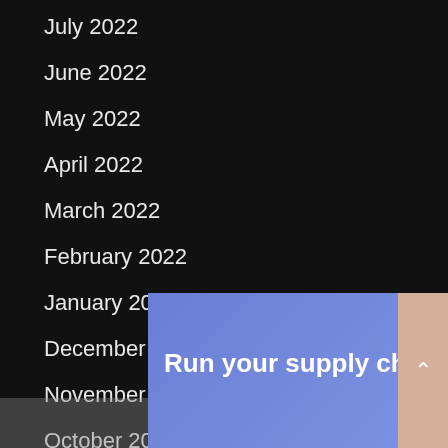July 2022
June 2022
May 2022
April 2022
March 2022
February 2022
January 2022
December 2021
November 2021
October 2021
September 2021
August
July 2
June
[Figure (screenshot): Advertisement banner for ANVYL with blue/purple gradient background. Shows ANVYL brand name at top right, and tagline 'Run your supply chain better' with a 'Learn More' button. Has close/control icons at top right corner.]